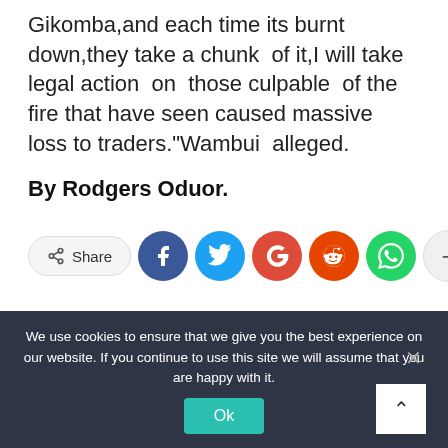Gikomba,and each time its burnt down,they take a chunk of it,I will take legal action on those culpable of the fire that have seen caused massive loss to traders."Wambui alleged.
By Rodgers Oduor.
[Figure (infographic): Social share bar with Share button, Facebook, Twitter, Google+, Reddit, WhatsApp circle icons, and a plus button]
We use cookies to ensure that we give you the best experience on our website. If you continue to use this site we will assume that you are happy with it.